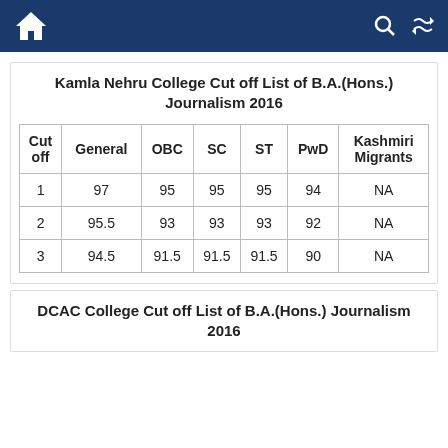Home | Search | Shuffle
Kamla Nehru College Cut off List of B.A.(Hons.) Journalism 2016
| Cut off | General | OBC | SC | ST | PwD | Kashmiri Migrants |
| --- | --- | --- | --- | --- | --- | --- |
| 1 | 97 | 95 | 95 | 95 | 94 | NA |
| 2 | 95.5 | 93 | 93 | 93 | 92 | NA |
| 3 | 94.5 | 91.5 | 91.5 | 91.5 | 90 | NA |
DCAC College Cut off List of B.A.(Hons.) Journalism 2016